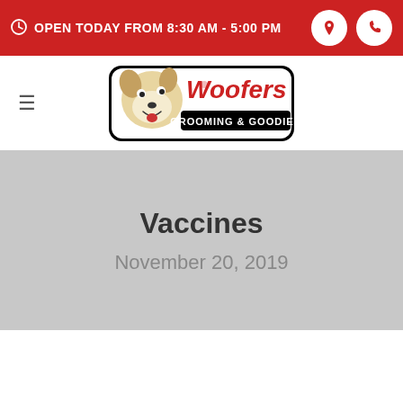OPEN TODAY FROM 8:30 AM - 5:00 PM
[Figure (logo): Woofers Grooming & Goodies logo with cartoon dog]
Vaccines
November 20, 2019